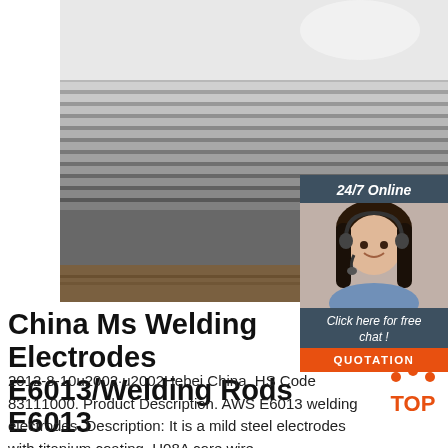[Figure (photo): Photo of stacked metallic welding electrode rods or sheets in a warehouse/storage setting, showing layered flat metallic products with ridged edges]
[Figure (photo): Chat support widget showing a woman with headset and text '24/7 Online', 'Click here for free chat!', and a QUOTATION button]
China Ms Welding Electrodes E6013/Welding Rods E6013
2012-8-10u2002·u2002Hebei China. HS Code 83111000. Product Description. AWS E6013 welding electrodes. Description: It is a mild steel electrodes with titanium coating, H08A core wire,